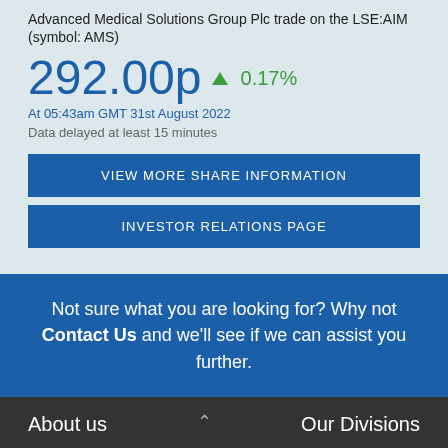Advanced Medical Solutions Group Plc trade on the LSE:AIM (symbol: AMS)
292.00p ▲ 0.17%
At 05:43am GMT 31st August 2022
Data delayed at least 15 minutes
VIEW MORE SHARE INFORMATION
INVESTOR RELATIONS PAGE
Not sure what you are looking for? Why not Contact Us and we'll see if we can assist you further.
About us
Our Divisions